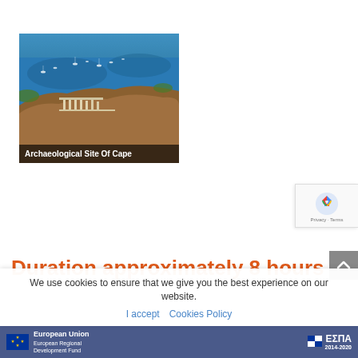[Figure (photo): Aerial view of an archaeological site on a rocky cape with blue sea and sailing boats visible. Ancient Greek temple ruins (columns) visible on elevated terrain. Caption bar reads 'Archaeological Site Of Cape'.]
Archaeological Site Of Cape
Duration approximately 8 hours
[Figure (logo): reCAPTCHA badge with Google reCAPTCHA logo, showing 'Privacy - Terms' text]
We use cookies to ensure that we give you the best experience on our website.
I accept   Cookies Policy
European Union European Regional Development Fund | ΕΣΠΑ 2014-2020